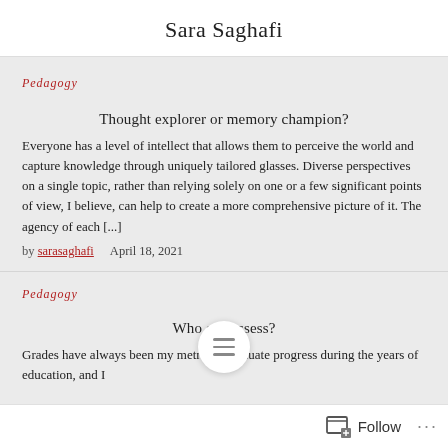Sara Saghafi
Pedagogy
Thought explorer or memory champion?
Everyone has a level of intellect that allows them to perceive the world and capture knowledge through uniquely tailored glasses. Diverse perspectives on a single topic, rather than relying solely on one or a few significant points of view, I believe, can help to create a more comprehensive picture of it. The agency of each [...]
by sarasaghafi    April 18, 2021
Pedagogy
Who can assess?
Grades have always been my metric to evaluate progress during the years of education, and I